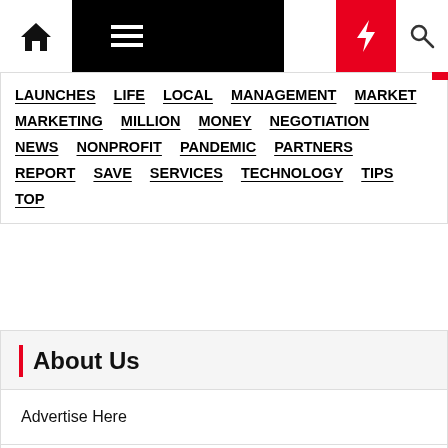[Figure (screenshot): Navigation bar with home icon, hamburger menu, dark background, moon icon, red lightning bolt button, and search icon]
LAUNCHES
LIFE
LOCAL
MANAGEMENT
MARKET
MARKETING
MILLION
MONEY
NEGOTIATION
NEWS
NONPROFIT
PANDEMIC
PARTNERS
REPORT
SAVE
SERVICES
TECHNOLOGY
TIPS
TOP
About Us
Advertise Here
Contact Us
Privacy Policy